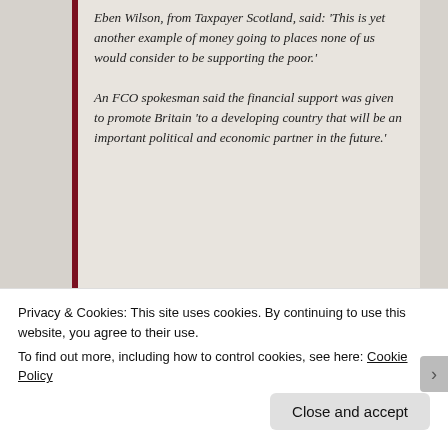Eben Wilson, from Taxpayer Scotland, said: ‘This is yet another example of money going to places none of us would consider to be supporting the poor.’ An FCO spokesman said the financial support was given to promote Britain ‘to a developing country that will be an important political and economic partner in the future.’
Advertisements
[Figure (other): Red advertisement banner with a black smartphone on the left and bold white text reading 'An app by' on the right]
Privacy & Cookies: This site uses cookies. By continuing to use this website, you agree to their use.
To find out more, including how to control cookies, see here: Cookie Policy
Close and accept